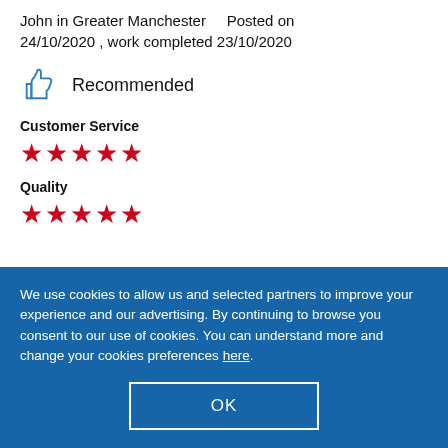John in Greater Manchester    Posted on 24/10/2020 , work completed 23/10/2020
Recommended
Customer Service
★★★★★
Quality
★★★★★
We use cookies to allow us and selected partners to improve your experience and our advertising. By continuing to browse you consent to our use of cookies. You can understand more and change your cookies preferences here.
OK